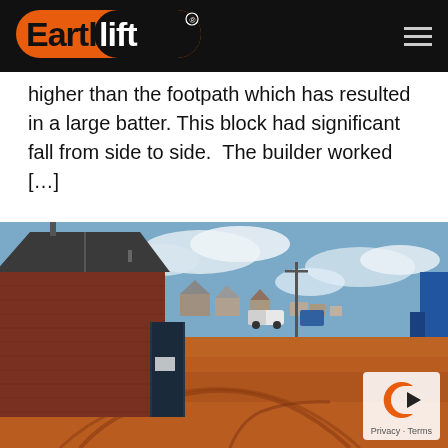Earthlift logo and navigation header
higher than the footpath which has resulted in a large batter. This block had significant fall from side to side.  The builder worked […]
[Figure (photo): A construction site with red/orange dirt, a brick house on the left with a dark gate, utility poles, and suburban houses visible in the background under a partly cloudy sky.]